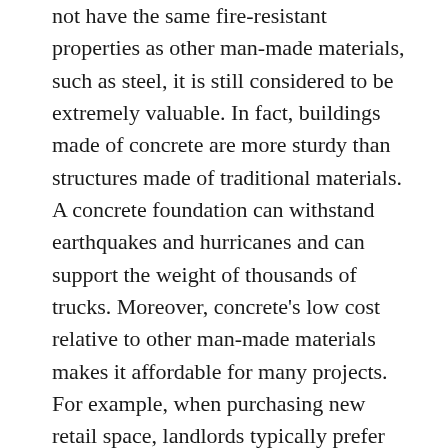not have the same fire-resistant properties as other man-made materials, such as steel, it is still considered to be extremely valuable. In fact, buildings made of concrete are more sturdy than structures made of traditional materials. A concrete foundation can withstand earthquakes and hurricanes and can support the weight of thousands of trucks. Moreover, concrete's low cost relative to other man-made materials makes it affordable for many projects. For example, when purchasing new retail space, landlords typically prefer concrete to expensive materials such as brick or tile because concrete is less costly and easy to maintain.